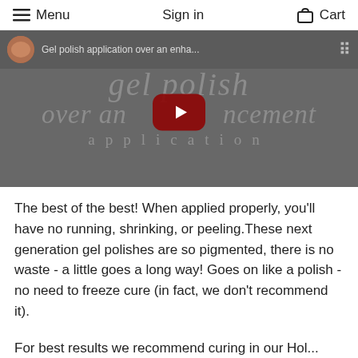Menu  Sign in  Cart
[Figure (screenshot): YouTube video thumbnail for 'Gel polish application over an enha...' showing a dark grey background with italic watermark text reading 'gel polish over an enhancement application' and a red YouTube play button in the center. Top bar shows a thumbnail image and video title.]
The best of the best! When applied properly, you'll have no running, shrinking, or peeling. These next generation gel polishes are so pigmented, there is no waste - a little goes a long way!  Goes on like a polish - no need to freeze cure (in fact, we don't recommend it).
For best results we recommend curing in our Hol...